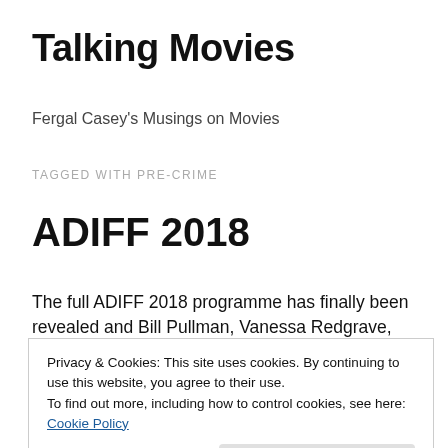Talking Movies
Fergal Casey's Musings on Movies
TAGGED WITH PRE-CRIME
ADIFF 2018
The full ADIFF 2018 programme has finally been revealed and Bill Pullman, Vanessa Redgrave, Paul Schrader, Cillian Murphy, Barry Keoghan, Lance Daly, Nora Twomey...
Privacy & Cookies: This site uses cookies. By continuing to use this website, you agree to their use.
To find out more, including how to control cookies, see here: Cookie Policy
released for sale at www.diff.ie from 7 pm today and the